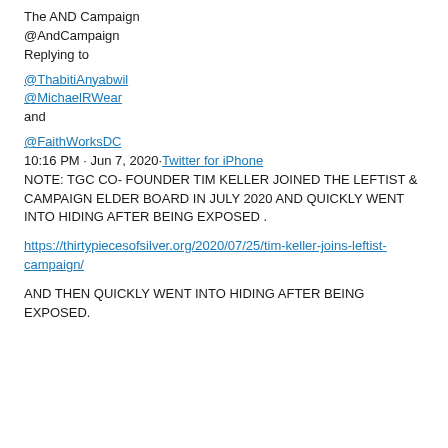The AND Campaign
@AndCampaign
Replying to
@ThabitiAnyabwil
@MichaelRWear
and
@FaithWorksDC
10:16 PM · Jun 7, 2020·Twitter for iPhone
NOTE: TGC CO- FOUNDER TIM KELLER JOINED THE LEFTIST & CAMPAIGN ELDER BOARD IN JULY 2020 AND QUICKLY WENT INTO HIDING AFTER BEING EXPOSED .
https://thirtypiecesofsilver.org/2020/07/25/tim-keller-joins-leftist-campaign/
AND THEN QUICKLY WENT INTO HIDING AFTER BEING EXPOSED.